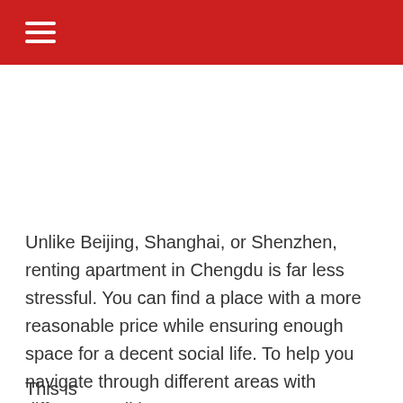☰
Unlike Beijing, Shanghai, or Shenzhen, renting apartment in Chengdu is far less stressful. You can find a place with a more reasonable price while ensuring enough space for a decent social life. To help you navigate through different areas with different qualities,
This is the beginning of a cut-off sentence...